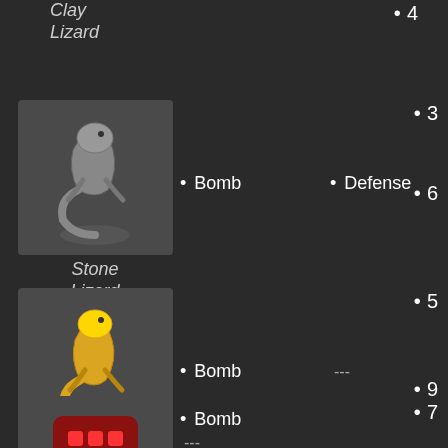Clay Lizard
[Figure (illustration): Stone Lizard figurine statue icon]
Bomb
Defense
3
6
Stone Lizard
[Figure (illustration): Gold Lizard figurine statue icon]
Bomb
5
9
Gold Lizard
[Figure (illustration): Red barrel/bomb item icon]
Bomb
7